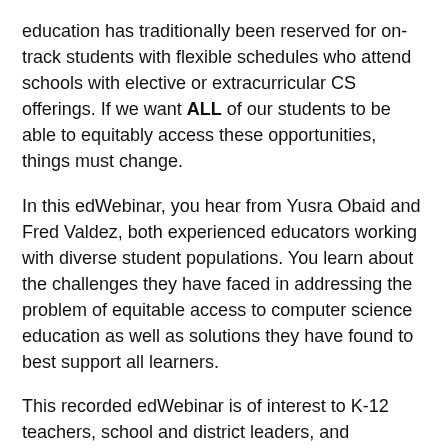education has traditionally been reserved for on-track students with flexible schedules who attend schools with elective or extracurricular CS offerings. If we want ALL of our students to be able to equitably access these opportunities, things must change.
In this edWebinar, you hear from Yusra Obaid and Fred Valdez, both experienced educators working with diverse student populations. You learn about the challenges they have faced in addressing the problem of equitable access to computer science education as well as solutions they have found to best support all learners.
This recorded edWebinar is of interest to K-12 teachers, school and district leaders, and education technology leaders.
[Figure (photo): Photo of a presenter (woman with glasses and dark hair) partially visible at the bottom-left corner of the page]
About the Presenters